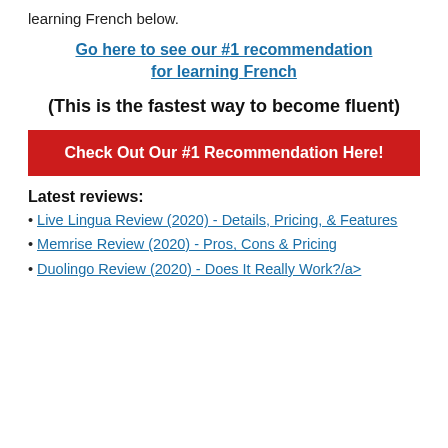learning French below.
Go here to see our #1 recommendation for learning French
(This is the fastest way to become fluent)
Check Out Our #1 Recommendation Here!
Latest reviews:
Live Lingua Review (2020) - Details, Pricing, & Features
Memrise Review (2020) - Pros, Cons & Pricing
Duolingo Review (2020) - Does It Really Work?/a>